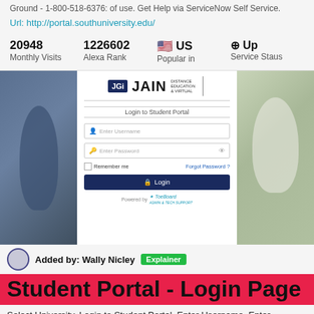Ground - 1-800-518-6376: of use. Get Help via ServiceNow Self Service.
Url: http://portal.southuniversity.edu/
20948 Monthly Visits   1226602 Alexa Rank   US Popular in   Up Service Staus
[Figure (screenshot): Screenshot of JAIN Distance Education & Virtual student portal login page with username and password fields, remember me checkbox, forgot password link, and login button. Side panels show blurred photos of people.]
Added by: Wally Nicley  Explainer
Student Portal - Login Page
Select University. Login to Student Portal. Enter Username. Enter Password